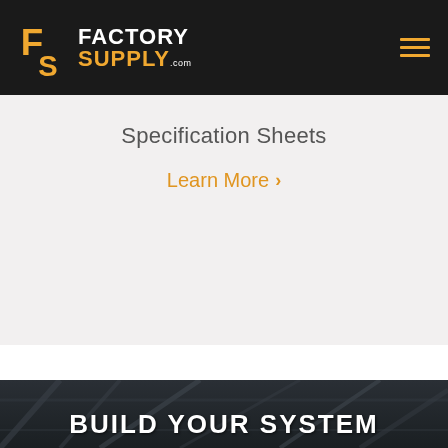[Figure (logo): Factory Supply .com logo with orange FS icon on dark background header with hamburger menu]
Specification Sheets
Learn More >
[Figure (photo): Dark industrial steel structure background with BUILD YOUR SYSTEM text overlay]
BUILD YOUR SYSTEM